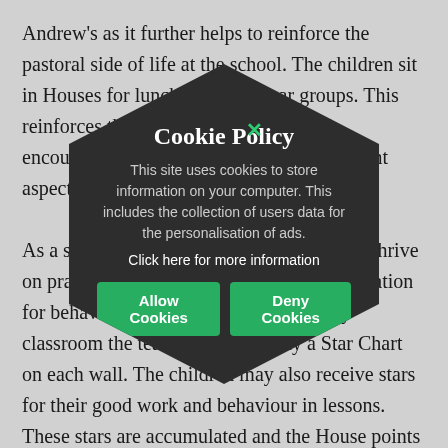Andrew's as it further helps to reinforce the pastoral side of life at the school. The children sit in Houses for lunch in mixed year groups. This reinforces their sense of belonging and encourages their recognition of this important aspect of pastoral care.

As a school we firmly believe that children thrive on praise. The house system provides motivation for behaviour and for achieving. In every classroom the teachers will display a Star Chart on each wall. The children may also receive stars for their good work and behaviour in lessons. These stars are accumulated and the House points are tallied at a House Meeting at the end of an assessment period. The children with the highest totals receive acknowledgement in their House meetings.
Cookie Policy
This site uses cookies to store information on your computer. This includes the collection of users data for the personalisation of ads.
Click here for more information
Allow Cookies | Deny Cookies